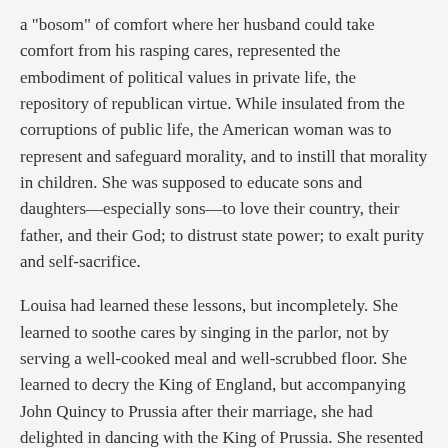a "bosom" of comfort where her husband could take comfort from his rasping cares, represented the embodiment of political values in private life, the repository of republican virtue. While insulated from the corruptions of public life, the American woman was to represent and safeguard morality, and to instill that morality in children. She was supposed to educate sons and daughters—especially sons—to love their country, their father, and their God; to distrust state power; to exalt purity and self-sacrifice.
Louisa had learned these lessons, but incompletely. She learned to soothe cares by singing in the parlor, not by serving a well-cooked meal and well-scrubbed floor. She learned to decry the King of England, but accompanying John Quincy to Prussia after their marriage, she had delighted in dancing with the King of Prussia. She resented the call to self-sacrifice.
Louisa was 26 when she first stepped onto American soil. It was a dim, cold day—Thanksgiving—when she arrived at the